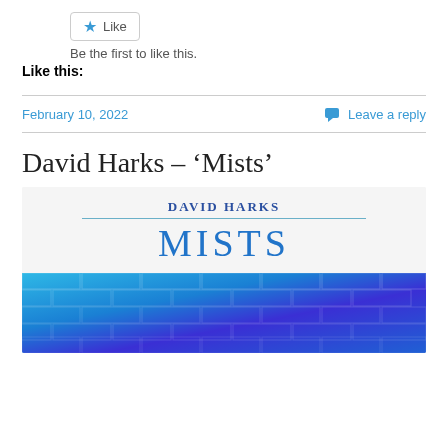Like
Be the first to like this.
Like this:
February 10, 2022
Leave a reply
David Harks – ‘Mists’
[Figure (illustration): Book cover for 'Mists' by David Harks showing author name and title text above a blue brick wall background with gradient from light blue to deep blue/purple.]